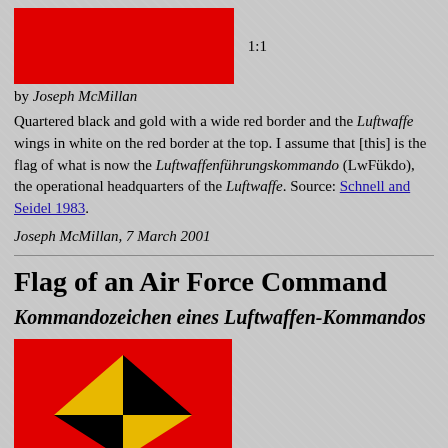[Figure (illustration): Red rectangular flag image, ratio 1:1]
by Joseph McMillan
Quartered black and gold with a wide red border and the Luftwaffe wings in white on the red border at the top. I assume that [this] is the flag of what is now the Luftwaffenführungskommando (LwFükdo), the operational headquarters of the Luftwaffe. Source: Schnell and Seidel 1983.
Joseph McMillan, 7 March 2001
Flag of an Air Force Command
Kommandozeichen eines Luftwaffen-Kommandos
[Figure (illustration): Red flag with quartered black and gold emblem and white Luftwaffe eagle wings at bottom]